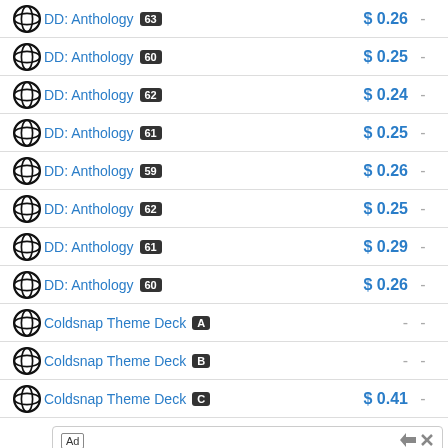| Set | Price |  |
| --- | --- | --- |
| DD: Anthology 63 | $0.26 | - |
| DD: Anthology 60 | $0.25 | - |
| DD: Anthology 62 | $0.24 | - |
| DD: Anthology 61 | $0.25 | - |
| DD: Anthology 59 | $0.26 | - |
| DD: Anthology 62 | $0.25 | - |
| DD: Anthology 61 | $0.29 | - |
| DD: Anthology 60 | $0.26 | - |
| Coldsnap Theme Deck A | - | - |
| Coldsnap Theme Deck B | - | - |
| Coldsnap Theme Deck C | $0.41 | - |
[Figure (screenshot): Advertisement banner for PUMA School Gear with shop now button]